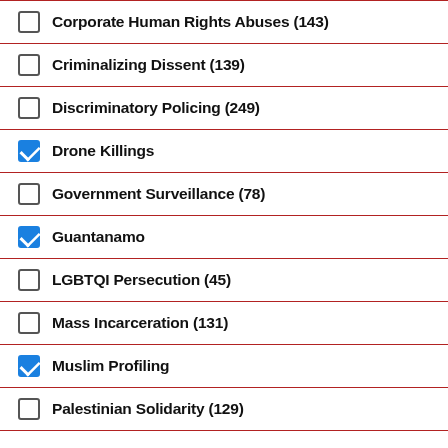Corporate Human Rights Abuses (143)
Criminalizing Dissent (139)
Discriminatory Policing (249)
Drone Killings
Government Surveillance (78)
Guantanamo
LGBTQI Persecution (45)
Mass Incarceration (131)
Muslim Profiling
Palestinian Solidarity (129)